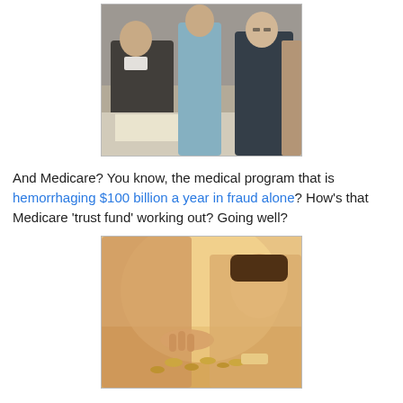[Figure (photo): Black and white / color photograph of people including a man in a suit signing a document, a woman in a blue dress standing behind, and an elderly man in a dark suit to the right.]
And Medicare? You know, the medical program that is hemorrhaging $100 billion a year in fraud alone? How's that Medicare 'trust fund' working out? Going well?
[Figure (photo): Warm-toned photograph of a child and an adult counting coins on a flat surface.]
And the Democrats' incessant push to lower eligibility for welfare payments, food stamps and tax credits? Is that cutting down on single-parent families and inner-city blight?